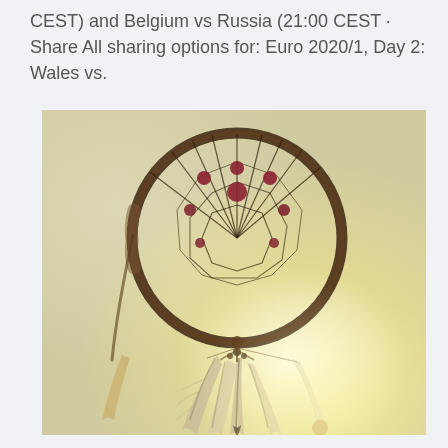CEST) and Belgium vs Russia (21:00 CEST · Share All sharing options for: Euro 2020/1, Day 2: Wales vs.
[Figure (photo): A dreamcatcher photographed from below against a bright warm sky. The circular wooden hoop has a woven web with dark red/burgundy beads at the intersections. Several feathers hang below on cords with beads, illuminated by warm sunlight giving the image a vintage, warm-toned look.]